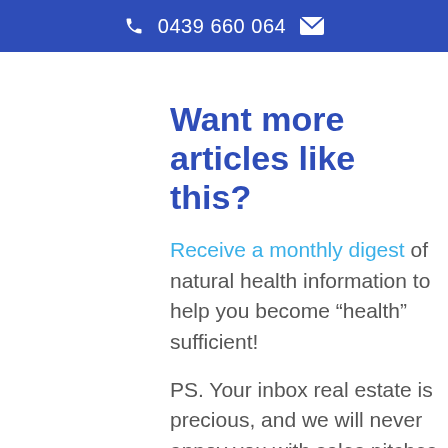0439 660 064
Want more articles like this?
Receive a monthly digest of natural health information to help you become “health” sufficient!
PS. Your inbox real estate is precious, and we will never annoy you with sales pitches or share your details